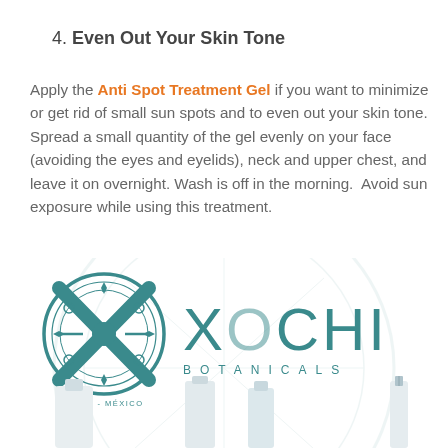4. Even Out Your Skin Tone
Apply the Anti Spot Treatment Gel if you want to minimize or get rid of small sun spots and to even out your skin tone. Spread a small quantity of the gel evenly on your face (avoiding the eyes and eyelids), neck and upper chest, and leave it on overnight. Wash is off in the morning.  Avoid sun exposure while using this treatment.
[Figure (logo): Xochi Botanicals logo: a teal circular emblem with stylized X design and text PARIS - MEXICO, alongside the brand name XOCHI BOTANICALS in large teal letters]